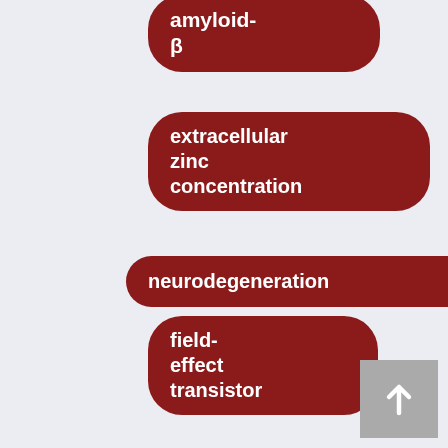[Figure (infographic): A list of keyword tags rendered as dark red rounded pill/bubble shapes with white text, representing scientific topics: amyloid-β, extracellular zinc concentration, neurodegeneration, field-effect transistor, Autometallography, cetacean, inductively coupled plasma mass spectrometry]
[Figure (other): A grey scroll-to-top button with an upward arrow icon in the bottom right corner]